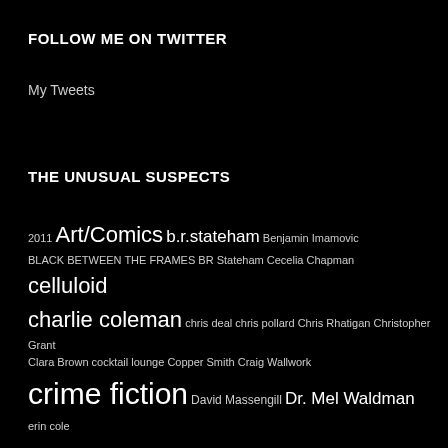FOLLOW ME ON TWITTER
My Tweets
THE UNUSUAL SUSPECTS
2011 Art/Comics b.r.stateham Benjamin Imamovic BLACK BETWEEN THE FRAMES BR Stateham Cecelia Chapman celluloid charlie coleman chris deal chris pollard Chris Rhatigan Christopher Grant Clara Brown cocktail lounge Copper Smith Craig Wallwork crime fiction David Massengill Dr. Mel Waldman erin cole frank duffy Frank Quinn genre fiction graham wynd guide to modern life Heath Lowrance horror fiction ian ayris j.j. anselmi Jason Beech jason duke jason michel Jeff Dosser jodi macarthur john grochalski John McNeeley julia madeleine kate laity Katy O'Dowd kevin atherton kevin shamel Kimmy Dee